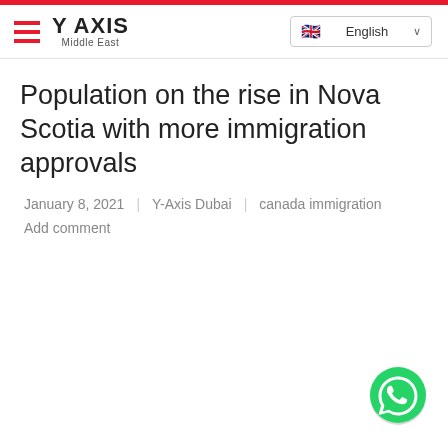[Figure (logo): Y Axis Middle East logo with hamburger menu icon and language selector showing English with UK flag]
Population on the rise in Nova Scotia with more immigration approvals
January 8, 2021   Y-Axis Dubai   canada immigration
Add comment
[Figure (illustration): WhatsApp floating action button (green circle with phone handset icon) in bottom right corner]